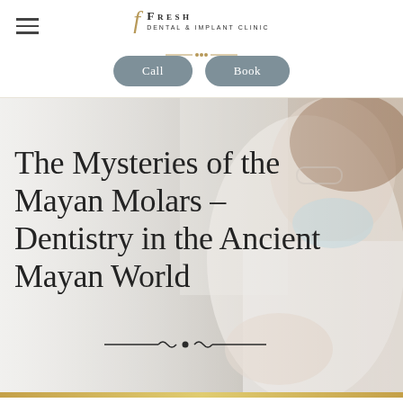Fresh Dental & Implant Clinic
[Figure (screenshot): Navigation buttons: Call and Book]
[Figure (photo): Smiling female dentist in white coat and face mask lowered, wearing glasses, holding dental tools over a dental model. Background is a bright clinical setting.]
The Mysteries of the Mayan Molars – Dentistry in the Ancient Mayan World